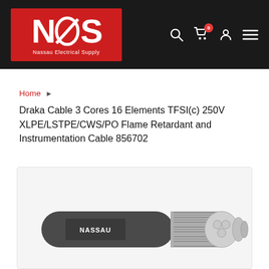[Figure (logo): Nassau Electrical Supply (NCS) logo — white letters on red background with stylized slash through O]
Home ›
Draka Cable 3 Cores 16 Elements TFSI(c) 250V XLPE/LSTPE/CWS/PO Flame Retardant and Instrumentation Cable 856702
[Figure (photo): Cross-section photo of Draka armored instrumentation cable with NASSAU label on outer sheath, showing metallic wire armor and inner conductor bundle]